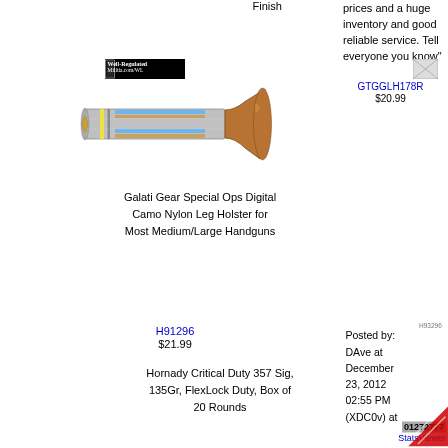Finish
prices and a huge inventory and good reliable service. Tell everyone you know
[Figure (logo): Well Regulated Militia logo]
[Figure (other): Broken image placeholder for GTGGLH178R]
GTGGLH178R
$20.99
[Figure (illustration): Illustration of a bullet/cartridge - Hornady Critical Duty 357 Sig]
Galati Gear Special Ops Digital Camo Nylon Leg Holster for Most Medium/Large Handguns
H93296 (small code label)
H91296
$21.99
Hornady Critical Duty 357 Sig, 135Gr, FlexLock Duty, Box of 20 Rounds
Posted by: DAve at December 23, 2012 02:55 PM (XDC0v) at
[Figure (other): Broken image placeholder for GTGGLH178G]
GTGGLH178G
$20.99
[Figure (other): Broken image placeholder for GTGGLH178B]
GTGGLH178B
$20.99
AoSHQ
Galati Gear Special Ops OD Green Nylon Leg Holster for Most Medium/Large Handguns
Galati Gear Special Ops Nylon Leg Holster for Most Medium/Large Handguns
01272777 StatsViewer
[Figure (logo): Well Regulated Militia logo bottom left]
[Figure (logo): Well Regulated Militia logo bottom right]